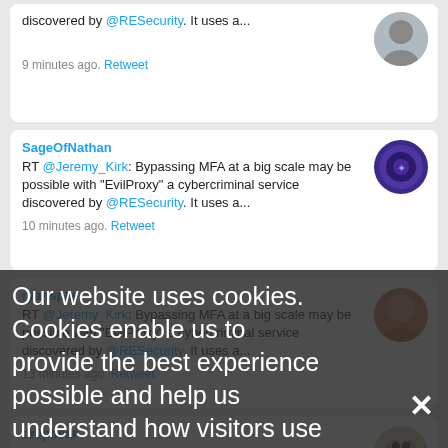discovered by @RESecurity. It uses a...
9 minutes ago. Retweet
SageOfNathan
RT @Jeremy_Kirk: Bypassing MFA at a big scale may be possible with "EvilProxy" a cybercriminal service discovered by @RESecurity. It uses a...
10 minutes ago. Retweet
ryansple
RT @Jeremy_Kirk: Bypassing MFA at a big scale may be possible with "EvilProxy" a cybercriminal service discovered by @RESecurity. It uses a...
13 minutes ago. Retweet
dr0pbear
RT @Jeremy_Kirk: Bypassing MFA at a big scale may be possible with "EvilProxy" a cybercriminal service discovered by @RESecurity. It uses a...
Our website uses cookies. Cookies enable us to provide the best experience possible and help us understand how visitors use our website. By browsing cuinfosecurity.com, you agree to our use of cookies.